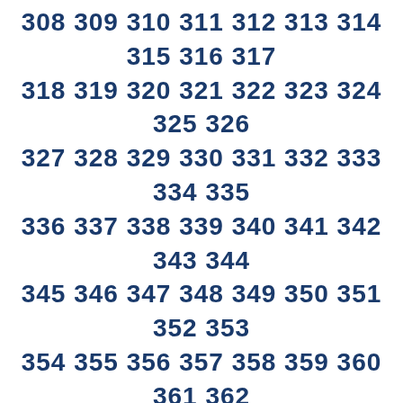308 309 310 311 312 313 314 315 316 317 318 319 320 321 322 323 324 325 326 327 328 329 330 331 332 333 334 335 336 337 338 339 340 341 342 343 344 345 346 347 348 349 350 351 352 353 354 355 356 357 358 359 360 361 362 363 364 365 366 367 368 369 370 371 372 373 374 375 376 377 378 379 380 381 382 383 ...
[Figure (screenshot): The Vampire Diaries banner with red and black design, show logo text]
[Figure (screenshot): YouTube button (red) and Twitter Follow button (blue)]
[Figure (photo): Dark promotional photo of a woman with long black hair against black background with red flowing fabric]